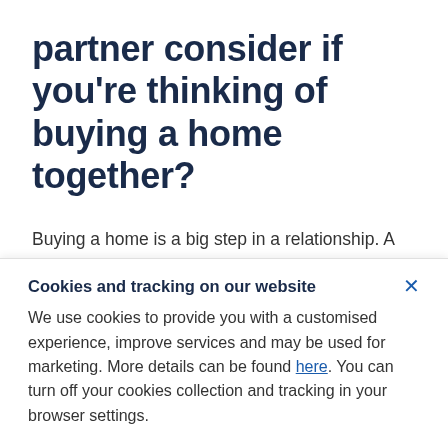partner consider if you're thinking of buying a home together?
Buying a home is a big step in a relationship. A mortgage is likely to be the biggest debt you and your partner will take on together, and home loans are typically a long-term debt (the most common home loan terms in Australia are 25 and 30 years²). These are...
Cookies and tracking on our website
We use cookies to provide you with a customised experience, improve services and may be used for marketing. More details can be found here. You can turn off your cookies collection and tracking in your browser settings.